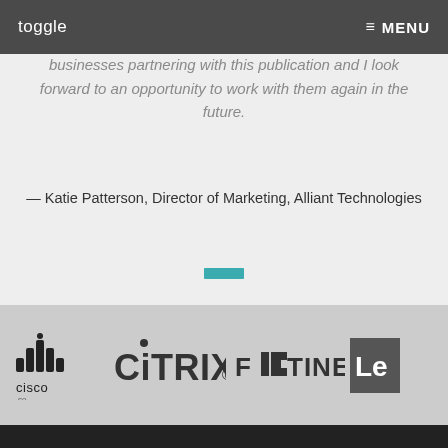toggle  ≡ MENU
without reservation that I highly recommend other businesses partnering with this publication and I look forward to an opportunity to work with them again in the future.
— Katie Patterson, Director of Marketing, Alliant Technologies
[Figure (other): Teal/turquoise decorative horizontal bar separator]
[Figure (logo): Company logos banner: Cisco, Citrix, Fortinet, Lenovo (partially visible)]